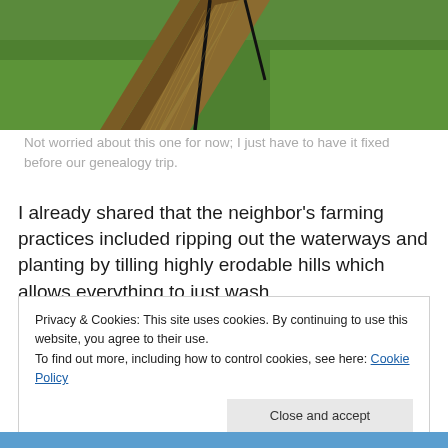[Figure (photo): A trench or ditch dug diagonally across a green grassy field, with black pipes or stakes visible. Soil and dry grass mounded alongside the trench.]
Not worried about this one for now; I just have to have it fixed before our genealogy trip.
I already shared that the neighbor's farming practices included ripping out the waterways and planting by tilling highly erodable hills which allows everything to just wash.
Privacy & Cookies: This site uses cookies. By continuing to use this website, you agree to their use.
To find out more, including how to control cookies, see here: Cookie Policy

Close and accept
[Figure (photo): Bottom sliver of a blue sky photo visible at the very bottom of the page.]